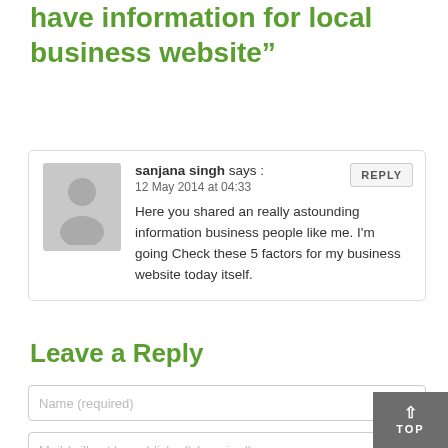have information for local business website”
sanjana singh says : 12 May 2014 at 04:33 Here you shared an really astounding information business people like me. I'm going Check these 5 factors for my business website today itself.
Leave a Reply
Name (required)
Mail (will not be published) (required)